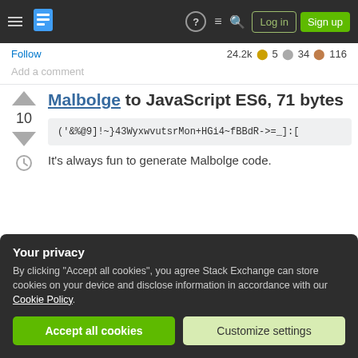Stack Exchange navigation bar with Log in and Sign up buttons
Follow   24.2k  5  34  116
Add a comment
Malbolge to JavaScript ES6, 71 bytes
('&%@9]!~}43WyxwvutsrMon+HGi4~fBBdR->=_]:[
It's always fun to generate Malbolge code.
Your privacy
By clicking "Accept all cookies", you agree Stack Exchange can store cookies on your device and disclose information in accordance with our Cookie Policy.
Accept all cookies
Customize settings